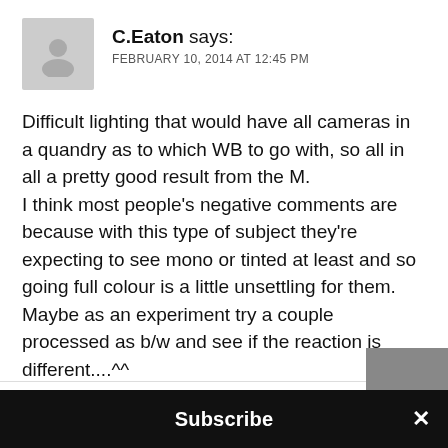[Figure (illustration): Gray placeholder avatar icon of a person silhouette]
C.Eaton says:
FEBRUARY 10, 2014 AT 12:45 PM
Difficult lighting that would have all cameras in a quandry as to which WB to go with, so all in all a pretty good result from the M.
I think most people's negative comments are because with this type of subject they're expecting to see mono or tinted at least and so going full colour is a little unsettling for them.
Maybe as an experiment try a couple processed as b/w and see if the reaction is different....^^
↩ REPLY
Subscribe ×